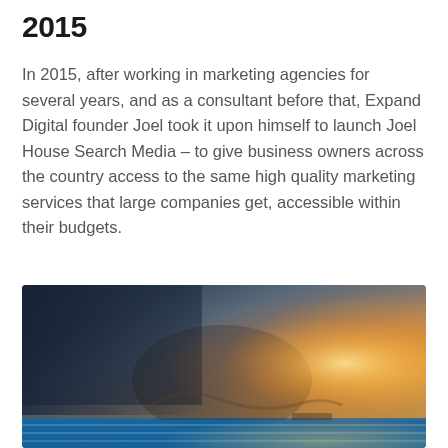2015
In 2015, after working in marketing agencies for several years, and as a consultant before that, Expand Digital founder Joel took it upon himself to launch Joel House Search Media – to give business owners across the country access to the same high quality marketing services that large companies get, accessible within their budgets.
[Figure (photo): A runner in athletic gear crouching at the starting block on a blue running track, with a bright warm sun flare visible in the background on the right side of the image.]